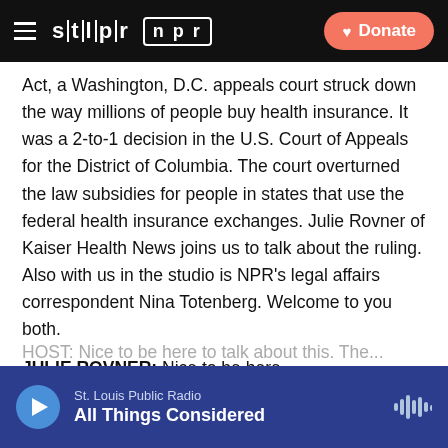STLPR | NPR — Donate
Act, a Washington, D.C. appeals court struck down the way millions of people buy health insurance. It was a 2-to-1 decision in the U.S. Court of Appeals for the District of Columbia. The court overturned the law subsidies for people in states that use the federal health insurance exchanges. Julie Rovner of Kaiser Health News joins us to talk about the ruling. Also with us in the studio is NPR's legal affairs correspondent Nina Totenberg. Welcome to you both.
JULIE ROVNER: Nice to be here.
NINA TOTENBERG, BYLINE: Nice to be here.
St. Louis Public Radio — All Things Considered